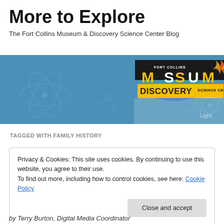More to Explore
The Fort Collins Museum & Discovery Science Center Blog
[Figure (photo): Fort Collins Museum & Discovery Science Center banner image with blue background, science-themed icons, and the museum logo on the right side showing 'FORT COLLINS MUSEUM & DISCOVERY SCIENCE CENTER']
TAGGED WITH FAMILY HISTORY
Privacy & Cookies: This site uses cookies. By continuing to use this website, you agree to their use.
To find out more, including how to control cookies, see here: Cookie Policy
[Close and accept]
by Terry Burton, Digital Media Coordinator